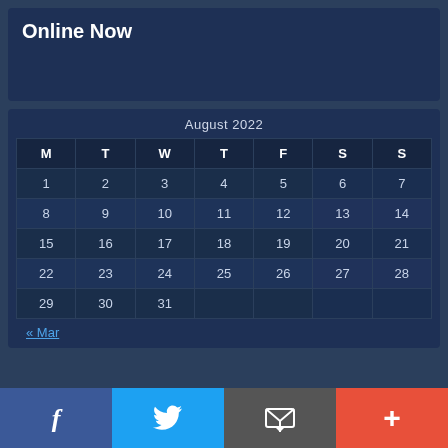Online Now
| M | T | W | T | F | S | S |
| --- | --- | --- | --- | --- | --- | --- |
| 1 | 2 | 3 | 4 | 5 | 6 | 7 |
| 8 | 9 | 10 | 11 | 12 | 13 | 14 |
| 15 | 16 | 17 | 18 | 19 | 20 | 21 |
| 22 | 23 | 24 | 25 | 26 | 27 | 28 |
| 29 | 30 | 31 |  |  |  |  |
« Mar
[Figure (other): Social media share bar with Facebook (blue), Twitter (light blue), Email/envelope (grey), and plus/more (orange-red) icons]